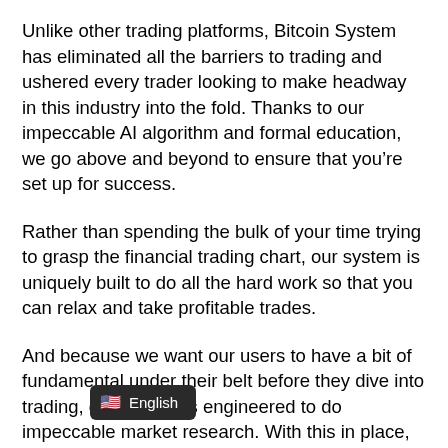Unlike other trading platforms, Bitcoin System has eliminated all the barriers to trading and ushered every trader looking to make headway in this industry into the fold. Thanks to our impeccable AI algorithm and formal education, we go above and beyond to ensure that you're set up for success.
Rather than spending the bulk of your time trying to grasp the financial trading chart, our system is uniquely built to do all the hard work so that you can relax and take profitable trades.
And because we want our users to have a bit of fundamental under their belt before they dive into trading, our system is engineered to do impeccable market research. With this in place, all you have to do is sit back and execute your trades. Simp[...] because it is.
[Figure (screenshot): A dark tooltip/language selector bar showing a US flag emoji and the text 'English', overlaid on the bottom of the page.]